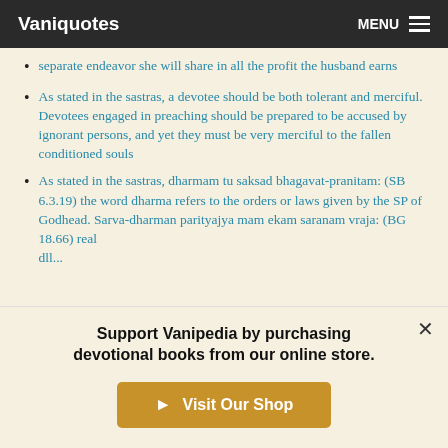Vaniquotes | MENU
separate endeavor she will share in all the profit the husband earns
As stated in the sastras, a devotee should be both tolerant and merciful. Devotees engaged in preaching should be prepared to be accused by ignorant persons, and yet they must be very merciful to the fallen conditioned souls
As stated in the sastras, dharmam tu saksad bhagavat-pranitam: (SB 6.3.19) the word dharma refers to the orders or laws given by the SP of Godhead. Sarva-dharman parityajya mam ekam saranam vraja: (BG 18.66) real dll...
Support Vanipedia by purchasing devotional books from our online store.
Visit Our Shop